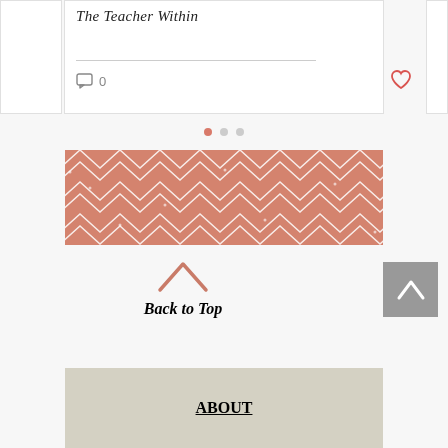The Teacher Within
[Figure (illustration): Blog post card with italic title 'The Teacher Within', a horizontal divider, comment icon with count 0, and a red heart like button]
[Figure (illustration): Carousel pagination dots: one filled salmon/red dot and two grey dots]
[Figure (illustration): Decorative banner with salmon/dusty rose background and repeating white chevron zigzag pattern]
[Figure (illustration): Back to Top chevron arrow icon pointing upward in salmon color]
Back to Top
[Figure (illustration): Grey square button with white upward chevron arrow, Back to Top button]
ABOUT